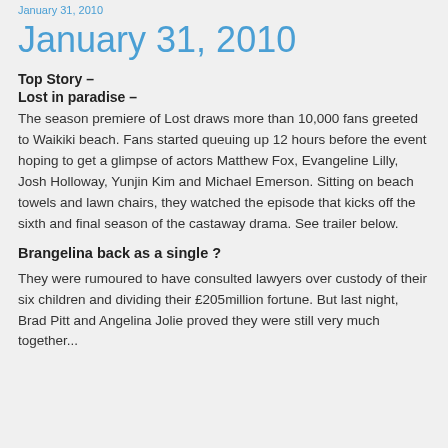January 31, 2010
January 31, 2010
Top Story –
Lost in paradise –
The season premiere of Lost draws more than 10,000 fans greeted to Waikiki beach. Fans started queuing up 12 hours before the event hoping to get a glimpse of actors Matthew Fox, Evangeline Lilly, Josh Holloway, Yunjin Kim and Michael Emerson. Sitting on beach towels and lawn chairs, they watched the episode that kicks off the sixth and final season of the castaway drama. See trailer below.
Brangelina back as a single ?
They were rumoured to have consulted lawyers over custody of their six children and dividing their £205million fortune. But last night, Brad Pitt and Angelina Jolie proved they were still very much together...